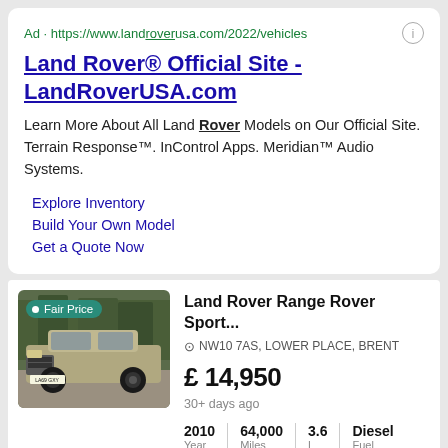Ad · https://www.landroverusa.com/2022/vehicles
Land Rover® Official Site - LandRoverUSA.com
Learn More About All Land Rover Models on Our Official Site. Terrain Response™. InControl Apps. Meridian™ Audio Systems.
Explore Inventory
Build Your Own Model
Get a Quote Now
[Figure (photo): Land Rover Range Rover Sport in silver/gold color parked outdoors with trees in background, with Fair Price badge overlay]
Land Rover Range Rover Sport...
NW10 7AS, LOWER PLACE, BRENT
£ 14,950
30+ days ago
2010 Year | 64,000 Miles | 3.6 L | Diesel Fuel
Land rover range rover sport 2....